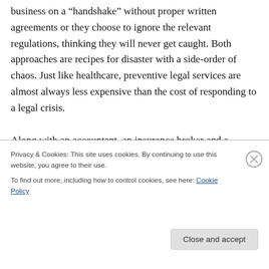business on a “handshake” without proper written agreements or they choose to ignore the relevant regulations, thinking they will never get caught. Both approaches are recipes for disaster with a side-order of chaos. Just like healthcare, preventive legal services are almost always less expensive than the cost of responding to a legal crisis.

Along with an accountant, an insurance broker and a banker, among others, every business owner should include an attorney on their team of professionals. By
Privacy & Cookies: This site uses cookies. By continuing to use this website, you agree to their use.
To find out more, including how to control cookies, see here: Cookie Policy
Close and accept